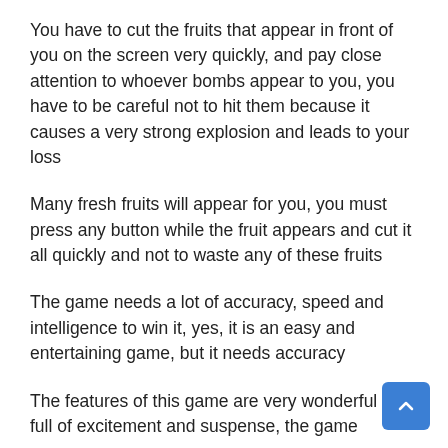You have to cut the fruits that appear in front of you on the screen very quickly, and pay close attention to whoever bombs appear to you, you have to be careful not to hit them because it causes a very strong explosion and leads to your loss
Many fresh fruits will appear for you, you must press any button while the fruit appears and cut it all quickly and not to waste any of these fruits
The game needs a lot of accuracy, speed and intelligence to win it, yes, it is an easy and entertaining game, but it needs accuracy
The features of this game are very wonderful and full of excitement and suspense, the game